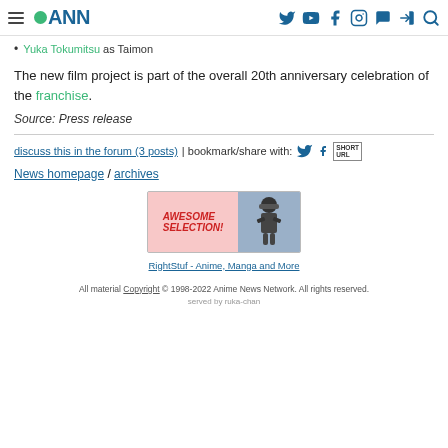ANN - Anime News Network navigation bar
Yuka Tokumitsu as Taimon
The new film project is part of the overall 20th anniversary celebration of the franchise.
Source: Press release
discuss this in the forum (3 posts) | bookmark/share with:
News homepage / archives
[Figure (illustration): RightStuf advertisement banner showing 'AWESOME SELECTION!' text with ninja graphic]
RightStuf - Anime, Manga and More
All material Copyright © 1998-2022 Anime News Network. All rights reserved. served by ruka-chan